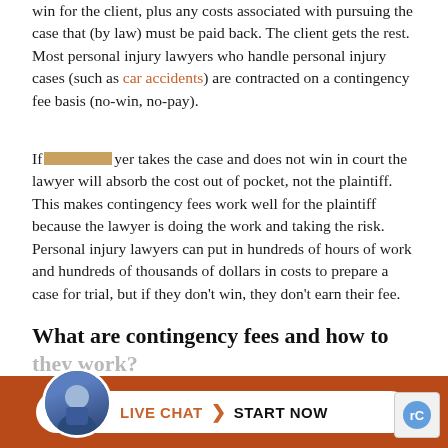win for the client, plus any costs associated with pursuing the case that (by law) must be paid back. The client gets the rest. Most personal injury lawyers who handle personal injury cases (such as car accidents) are contracted on a contingency fee basis (no-win, no-pay).
If a lawyer takes the case and does not win in court the lawyer will absorb the cost out of pocket, not the plaintiff. This makes contingency fees work well for the plaintiff because the lawyer is doing the work and taking the risk. Personal injury lawyers can put in hundreds of hours of work and hundreds of thousands of dollars in costs to prepare a case for trial, but if they don't win, they don't earn their fee.
What are contingency fees and how to they work?
A contingency fee is a no-win, no-fee arrangement between lawyer and client in which the lawyer receives a set percentage of the amount of recovery awarded to the plaintiff in a case. In most cases, monetary...